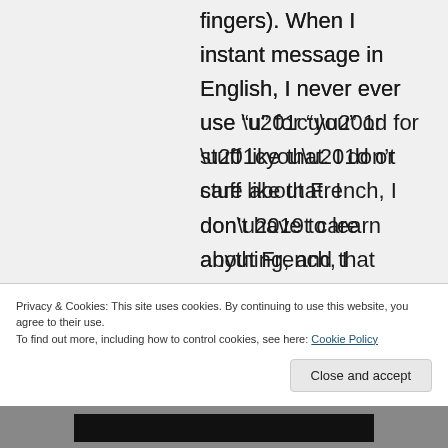fingers). When I instant message in English, I never ever use “u” for “you” or stuff like that. I don’t care about French, I don’t have to learn anything, and that particular message will only be read
Privacy & Cookies: This site uses cookies. By continuing to use this website, you agree to their use.
To find out more, including how to control cookies, see here: Cookie Policy